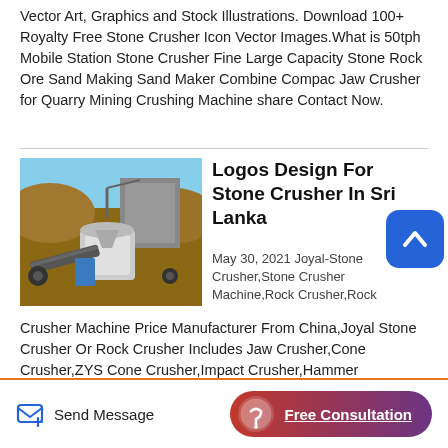Vector Art, Graphics and Stock Illustrations. Download 100+ Royalty Free Stone Crusher Icon Vector Images.What is 50tph Mobile Station Stone Crusher Fine Large Capacity Stone Rock Ore Sand Making Sand Maker Combine Compac Jaw Crusher for Quarry Mining Crushing Machine share Contact Now.
[Figure (photo): A stone crusher machine at an outdoor quarry site with machinery and rubble.]
Logos Design For Stone Crusher In Sri Lanka
May 30, 2021 Joyal-Stone Crusher,Stone Crusher Machine,Rock Crusher,Rock Crusher Machine Price Manufacturer From China,Joyal Stone Crusher Or Rock Crusher Includes Jaw Crusher,Cone Crusher,ZYS Cone Crusher,Impact Crusher,Hammer
Send Message   Free Consultation